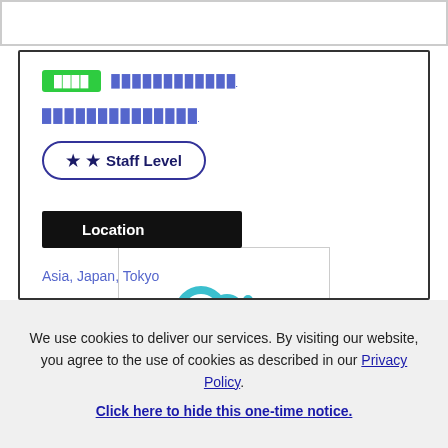████ ████████████
██████████████
★ ★ Staff Level
[Figure (logo): Cybozu company logo — teal circular icon with two overlapping circles and a small circle, with the text 'cybozu' below]
Location
Asia, Japan, Tokyo
We use cookies to deliver our services. By visiting our website, you agree to the use of cookies as described in our Privacy Policy. Click here to hide this one-time notice.